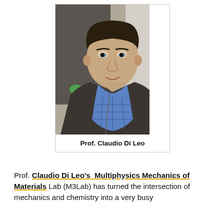[Figure (photo): Headshot portrait of Prof. Claudio Di Leo, a young man wearing a blue plaid shirt and dark jacket, looking at the camera with a slight smile. Background shows a lab/office setting.]
Prof. Claudio Di Leo
Prof. Claudio Di Leo's Multiphysics Mechanics of Materials Lab (M3Lab) has turned the intersection of mechanics and chemistry into a very busy